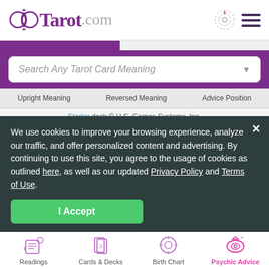[Figure (logo): Tarot.com logo with stylized moon/circle icon in purple, text 'Tarot' in purple and '.com' in gray]
Search Any Tarot Card Meaning
Upright Meaning   Reversed Meaning   Advice Position
Starter deck © U.S. Games Systems, Inc.
See this Card in Another Deck
We use cookies to improve your browsing experience, analyze our traffic, and offer personalized content and advertising. By continuing to use this site, you agree to the usage of cookies as outlined here, as well as our updated Privacy Policy and Terms of Use.
I Accept
Readings   Cards & Decks   Birth Chart   Psychic Advice